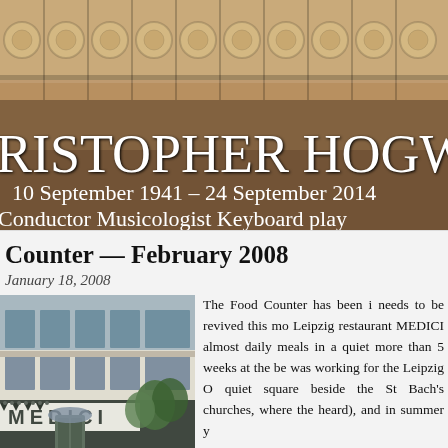[Figure (photo): Header banner with stone/architectural background showing CHRISTOPHER HOGWOOD name in large serif white text, with dates 10 September 1941 – 24 September 2014 and roles Conductor, Musicologist, Keyboard player]
Christopher Hogwood
10 September 1941 – 24 September 2014
Conductor   Musicologist   Keyboard player
Counter — February 2008
January 18, 2008
[Figure (photo): Exterior photo of the MEDICI restaurant in Leipzig, showing the facade with the MEDICI sign and entrance]
The Food Counter has been in needs to be revived this mo Leipzig restaurant MEDICI almost daily meals in a quiet more than 5 weeks at the be was working for the Leipzig quiet square beside the St Bach's churches, where the heard), and in summer y